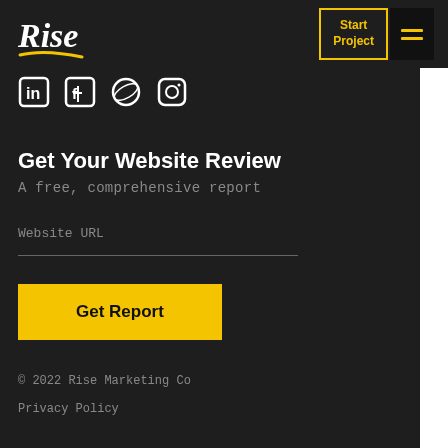[Figure (logo): Rise Marketing Co logo — handwritten italic white text 'Rise' with a yellow swoosh underline]
Start Project
[Figure (illustration): Social media icons: LinkedIn, Facebook, Dribbble, Instagram]
Get Your Website Review
A free, comprehensive report
Website URL
Get Report
© 2022 Rise Marketing Co
Privacy Policy